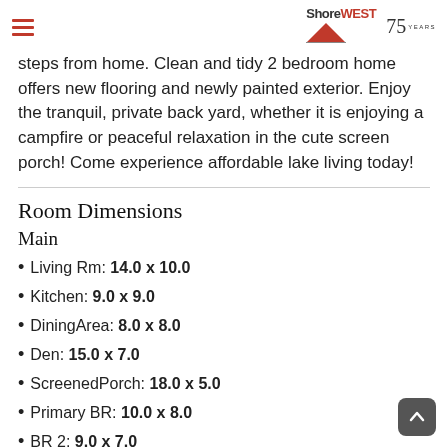ShoreWEST 75 YEARS
steps from home. Clean and tidy 2 bedroom home offers new flooring and newly painted exterior. Enjoy the tranquil, private back yard, whether it is enjoying a campfire or peaceful relaxation in the cute screen porch! Come experience affordable lake living today!
Room Dimensions
Main
Living Rm: 14.0 x 10.0
Kitchen: 9.0 x 9.0
DiningArea: 8.0 x 8.0
Den: 15.0 x 7.0
ScreenedPorch: 18.0 x 5.0
Primary BR: 10.0 x 8.0
BR 2: 9.0 x 7.0